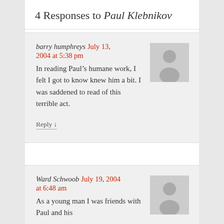4 Responses to Paul Klebnikov
barry humphreys July 13, 2004 at 5:38 pm
In reading Paul’s humane work, I felt I got to know knew him a bit. I was saddened to read of this terrible act.
Reply ↓
Ward Schwoob July 19, 2004 at 6:48 am
As a young man I was friends with Paul and his